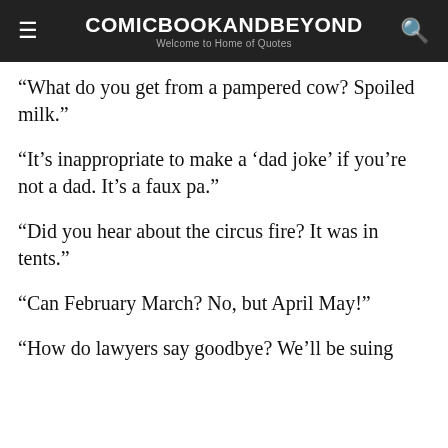COMICBOOKANDBEYOND – Welcome to Home of Quotes
“What do you get from a pampered cow? Spoiled milk.”
“It’s inappropriate to make a ‘dad joke’ if you’re not a dad. It’s a faux pa.”
“Did you hear about the circus fire? It was in tents.”
“Can February March? No, but April May!”
“How do lawyers say goodbye? We’ll be suing